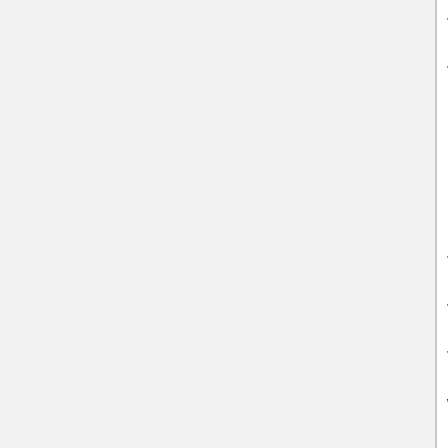follows the standard style. For the function to work properly your task parameters should be fully configured (for example, the parameter description